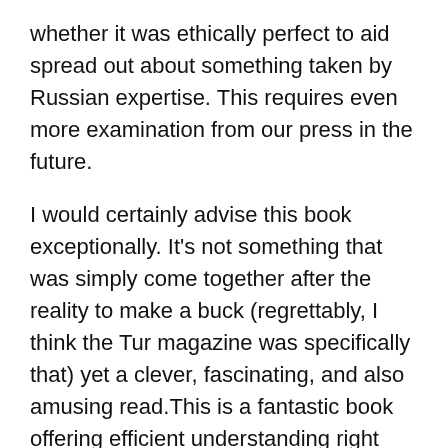whether it was ethically perfect to aid spread out about something taken by Russian expertise. This requires even more examination from our press in the future.
I would certainly advise this book exceptionally. It's not something that was simply come together after the reality to make a buck (regrettably, I think the Tur magazine was specifically that) yet a clever, fascinating, and also amusing read.This is a fantastic book offering efficient understanding right into why Hillary Clinton is not president. While choosing Hillary as a women press reporter as well as additionally feminist, Ms. Chozick weaves an, sometimes, seriously unbiased representation of the Clinton project and also its' internal procedures– as beat political press reporter for the New york city Times– yet additionally as a Jewish previous Texan. Ms.